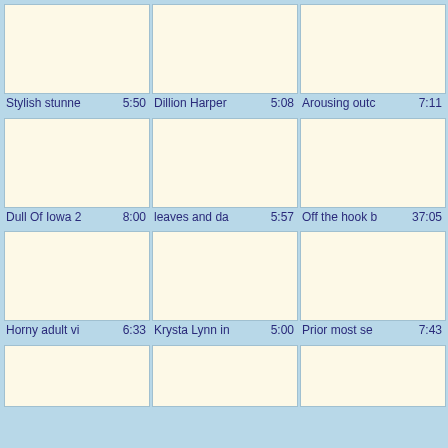[Figure (other): Video thumbnail placeholder 1 - cream/ivory colored box]
[Figure (other): Video thumbnail placeholder 2 - cream/ivory colored box]
[Figure (other): Video thumbnail placeholder 3 - cream/ivory colored box]
Stylish stunne  5:50
Dillion Harper  5:08
Arousing outc  7:11
[Figure (other): Video thumbnail placeholder 4 - cream/ivory colored box]
[Figure (other): Video thumbnail placeholder 5 - cream/ivory colored box]
[Figure (other): Video thumbnail placeholder 6 - cream/ivory colored box]
Dull Of Iowa 2  8:00
leaves and da  5:57
Off the hook b  37:05
[Figure (other): Video thumbnail placeholder 7 - cream/ivory colored box]
[Figure (other): Video thumbnail placeholder 8 - cream/ivory colored box]
[Figure (other): Video thumbnail placeholder 9 - cream/ivory colored box]
Horny adult vi  6:33
Krysta Lynn in  5:00
Prior most se  7:43
[Figure (other): Video thumbnail placeholder 10 - cream/ivory colored box (partial)]
[Figure (other): Video thumbnail placeholder 11 - cream/ivory colored box (partial)]
[Figure (other): Video thumbnail placeholder 12 - cream/ivory colored box (partial)]